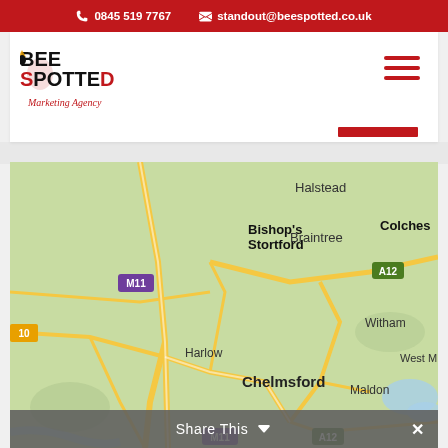📞 0845 519 7767   ✉ standout@beespotted.co.uk
[Figure (logo): Bee Spotted Marketing Agency logo — bee icon with bold text BEE SPOTTED and italic cursive subtitle 'Marketing Agency']
[Figure (map): Google Maps view showing Essex region UK with towns: Halstead, Bishop's Stortford, Braintree, Colchester (partial), Harlow, Witham, West M (partial), Chelmsford, Maldon. Road labels: M11, A12, 10.]
Share This